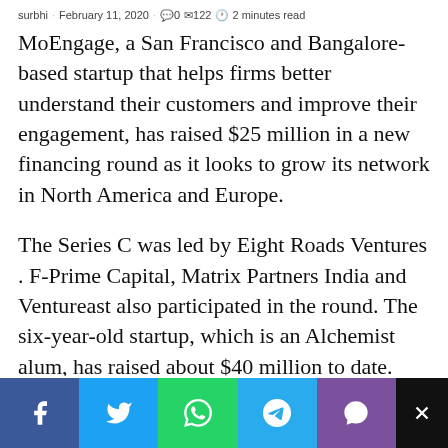surbhi · February 11, 2020 · 0 · 122 · 2 minutes read
MoEngage, a San Francisco and Bangalore-based startup that helps firms better understand their customers and improve their engagement, has raised $25 million in a new financing round as it looks to grow its network in North America and Europe.
The Series C was led by Eight Roads Ventures . F-Prime Capital, Matrix Partners India and Ventureast also participated in the round. The six-year-old startup, which is an Alchemist alum, has raised about $40 million to date.